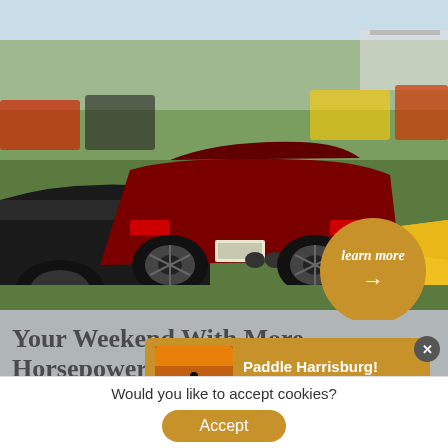[Figure (photo): Aerial/ground-level view of a car show with multiple sports cars including black and red Corvettes and a yellow car, parked on grass with people and tents in background. A golden circular 'learn more' button with an arrow overlays the bottom-right of the image.]
Your Weekend With More Horsepower
Carlisle Events hosts family-friendly automotive events including special vehicle displays and demo... para...
[Figure (infographic): Popup notification bar showing a sunset/river silhouette thumbnail image on the left with text 'Paddle Harrisburg! Explore the Susquehanna River →' on a golden/amber background, with a close (x) button in the top right.]
Would you like to accept cookies?
Accept